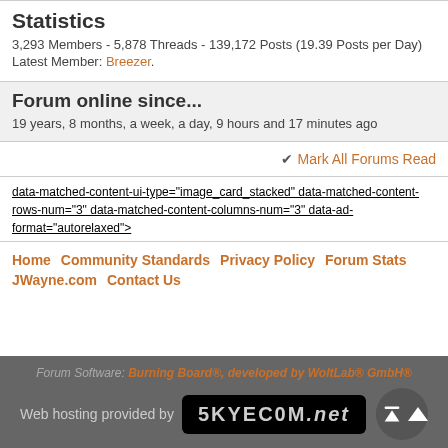Statistics
3,293 Members - 5,878 Threads - 139,172 Posts (19.39 Posts per Day)
Latest Member: Breezer.
Forum online since...
19 years, 8 months, a week, a day, 9 hours and 17 minutes ago
✔ Mark All Forums Read
data-matched-content-ui-type="image_card_stacked" data-matched-content-rows-num="3" data-matched-content-columns-num="3" data-ad-format="autorelaxed">
Home  Community Standards  Privacy Policy  Forum Stats  JWayne.com  Contact Us
Forum Software: Burning Board®, developed by WoltLab® GmbH®
Web hosting provided by SKYECOM.net